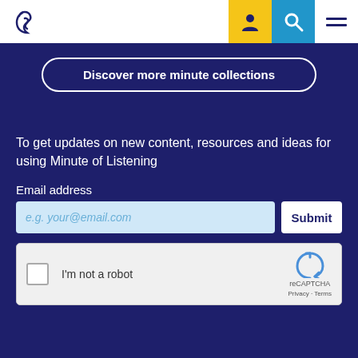[Figure (logo): Ear/hearing icon logo in dark navy outline, top left of header]
[Figure (illustration): Header icons: yellow box with person/user icon, blue box with magnifying glass/search icon, white box with hamburger menu lines]
Discover more minute collections
To get updates on new content, resources and ideas for using Minute of Listening
Email address
e.g. your@email.com
Submit
[Figure (screenshot): reCAPTCHA widget with checkbox, 'I'm not a robot' text, reCAPTCHA logo, 'reCAPTCHA', 'Privacy - Terms' links]